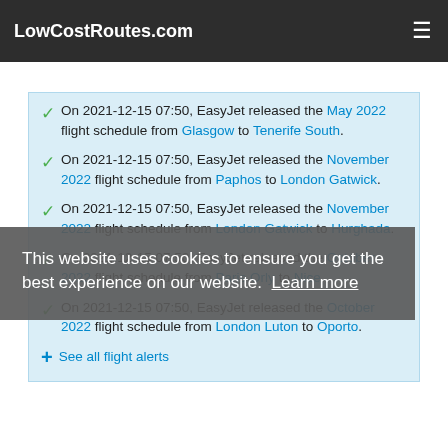LowCostRoutes.com
On 2021-12-15 07:50, EasyJet released the May 2022 flight schedule from Glasgow to Tenerife South.
On 2021-12-15 07:50, EasyJet released the November 2022 flight schedule from Paphos to London Gatwick.
On 2021-12-15 07:50, EasyJet released the November 2022 flight schedule from London Gatwick to Hurghada.
On 2021-12-15 07:50, EasyJet released the October 2022 flight schedule from Paris Orly to Nice.
On 2021-12-15 07:50, EasyJet released the October 2022 flight schedule from London Luton to Oporto.
+ See all flight alerts
This website uses cookies to ensure you get the best experience on our website. Learn more